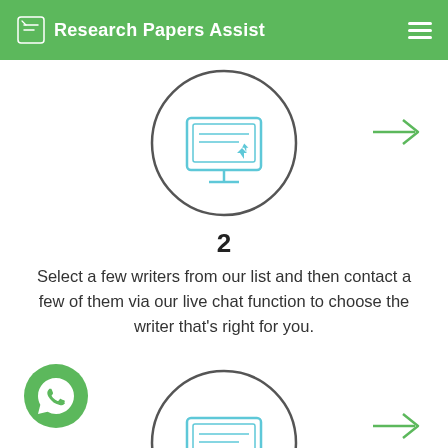Research Papers Assist
[Figure (illustration): Circle with a computer/monitor icon (order form icon) in teal/blue outline style]
[Figure (illustration): Green arrow pointing right]
2
Select a few writers from our list and then contact a few of them via our live chat function to choose the writer that's right for you.
[Figure (illustration): Circle with a computer/monitor icon (order form icon) in teal/blue outline style, partially visible at bottom]
[Figure (illustration): Green arrow pointing right at bottom]
[Figure (illustration): Green WhatsApp button (circle with phone handset icon)]